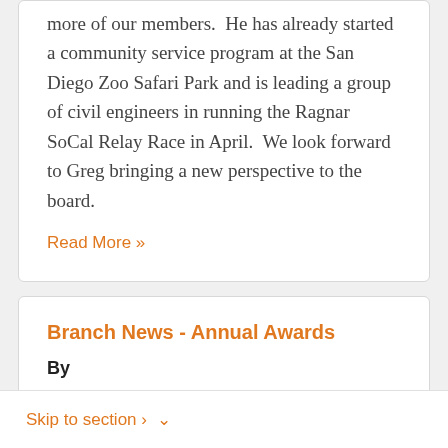more of our members.  He has already started a community service program at the San Diego Zoo Safari Park and is leading a group of civil engineers in running the Ragnar SoCal Relay Race in April.  We look forward to Greg bringing a new perspective to the board.
Read More »
Branch News - Annual Awards
By
Skip to section ›